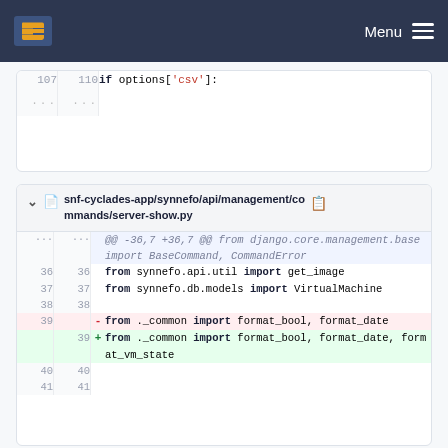Menu
[Figure (screenshot): Code diff snippet showing line 107/110 with 'if options["csv"]:' and ellipsis lines]
[Figure (screenshot): Code diff for snf-cyclades-app/synnefo/api/management/commands/server-show.py showing lines 36-41 with import changes]
snf-cyclades-app/synnefo/api/management/commands/server-show.py
@@ -36,7 +36,7 @@ from django.core.management.base import BaseCommand, CommandError
36  36  from synnefo.api.util import get_image
37  37  from synnefo.db.models import VirtualMachine
38  38
39  -  from ._common import format_bool, format_date
39  +  from ._common import format_bool, format_date, format_vm_state
40  40
41  41